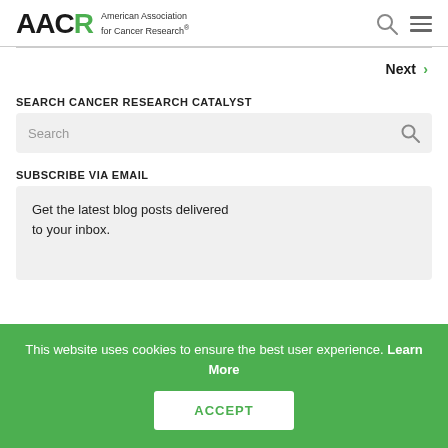AACR - American Association for Cancer Research
Next
SEARCH CANCER RESEARCH CATALYST
Search
SUBSCRIBE VIA EMAIL
Get the latest blog posts delivered to your inbox.
This website uses cookies to ensure the best user experience. Learn More
ACCEPT